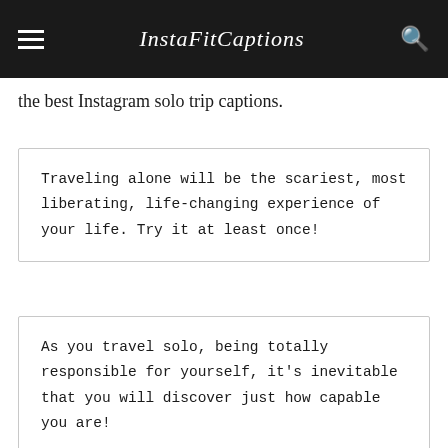InstaFitCaptions
the best Instagram solo trip captions.
Traveling alone will be the scariest, most liberating, life-changing experience of your life. Try it at least once!
As you travel solo, being totally responsible for yourself, it's inevitable that you will discover just how capable you are!
[partial quote box beginning]